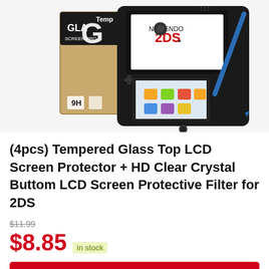[Figure (photo): Product photo showing a Nintendo 2DS handheld gaming console in black, with a tempered glass screen protector box (labeled 9H, SCREEN PROTECTOR) and a blue stylus alongside the device.]
(4pcs) Tempered Glass Top LCD Screen Protector + HD Clear Crystal Buttom LCD Screen Protective Filter for 2DS
$11.99
$8.85 in stock
BUY NOW